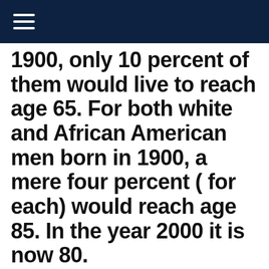1900, only 10 percent of them would live to reach age 65. For both white and African American men born in 1900, a mere four percent ( for each) would reach age 85. In the year 2000 it is now 80.
. Brother Kenneth Copeland has been preaching about living